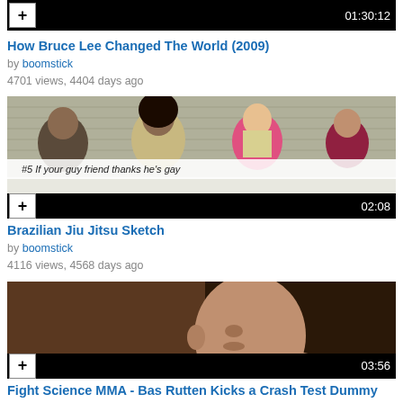[Figure (screenshot): Video thumbnail for 'How Bruce Lee Changed The World (2009)' with timestamp 01:30:12 and plus button]
How Bruce Lee Changed The World (2009)
by boomstick
4701 views, 4404 days ago
[Figure (screenshot): Video thumbnail for 'Brazilian Jiu Jitsu Sketch' showing a TV panel with #5 caption, timestamp 02:08 and plus button]
Brazilian Jiu Jitsu Sketch
by boomstick
4116 views, 4568 days ago
[Figure (screenshot): Video thumbnail for 'Fight Science MMA - Bas Rutten Kicks a Crash Test Dummy' showing a bald man, timestamp 03:56 and plus button]
Fight Science MMA - Bas Rutten Kicks a Crash Test Dummy